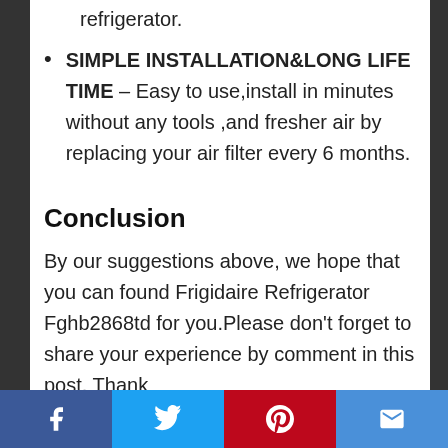refrigerator.
SIMPLE INSTALLATION&LONG LIFE TIME – Easy to use,install in minutes without any tools ,and fresher air by replacing your air filter every 6 months.
Conclusion
By our suggestions above, we hope that you can found Frigidaire Refrigerator Fghb2868td for you.Please don't forget to share your experience by comment in this post. Thank